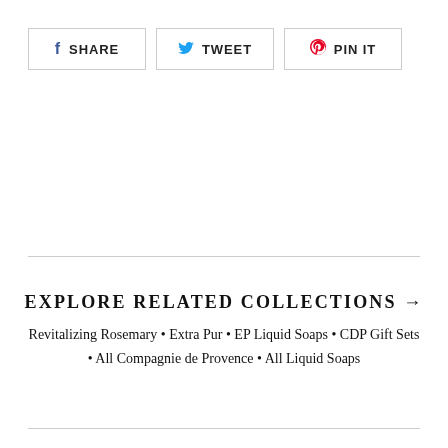[Figure (other): Social sharing buttons: SHARE (Facebook), TWEET (Twitter), PIN IT (Pinterest)]
EXPLORE RELATED COLLECTIONS →
Revitalizing Rosemary • Extra Pur • EP Liquid Soaps • CDP Gift Sets • All Compagnie de Provence • All Liquid Soaps